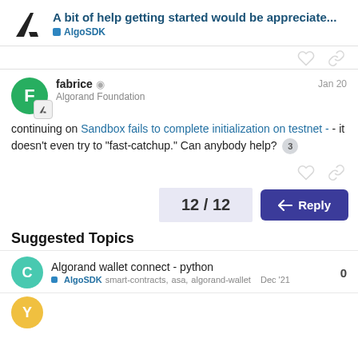A bit of help getting started would be appreciate... AlgoSDK
continuing on Sandbox fails to complete initialization on testnet - - it doesn't even try to "fast-catchup." Can anybody help? 3
12 / 12
Reply
Suggested Topics
Algorand wallet connect - python AlgoSDK smart-contracts, asa, algorand-wallet Dec '21 0